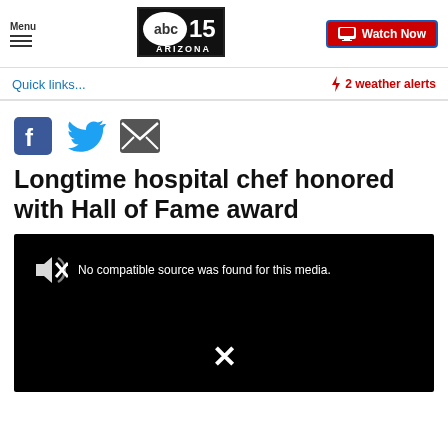Menu | abc15 ARIZONA | Watch Now
Quick links...
⚡ 2 weather alerts
[Figure (other): Social share icons: Facebook, Twitter, Email]
Longtime hospital chef honored with Hall of Fame award
[Figure (other): Video player showing error: No compatible source was found for this media. X close button visible.]